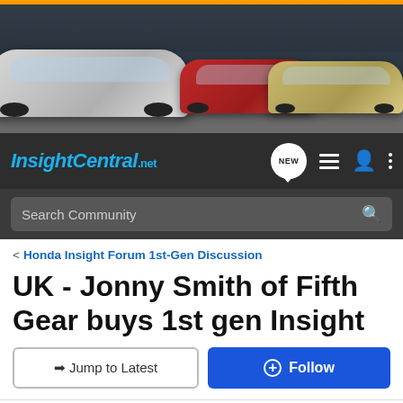[Figure (photo): Header banner showing three Honda Insight cars parked on a street — silver, red, and gold/beige — with city buildings in background. Orange bar at top. Dark background.]
InsightCentral.net
Search Community
< Honda Insight Forum 1st-Gen Discussion
UK - Jonny Smith of Fifth Gear buys 1st gen Insight
→ Jump to Latest
+ Follow
1 - 20 of 49 Posts
1 of 3